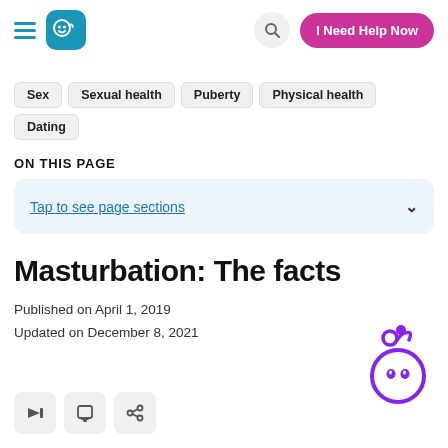I Need Help Now
Sex
Sexual health
Puberty
Physical health
Dating
ON THIS PAGE
Tap to see page sections
Masturbation: The facts
Published on April 1, 2019
Updated on December 8, 2021
[Figure (illustration): Purple cartoon mascot character with round body, eyes, and antenna]